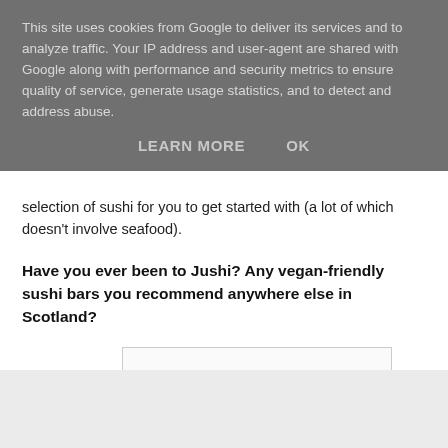This site uses cookies from Google to deliver its services and to analyze traffic. Your IP address and user-agent are shared with Google along with performance and security metrics to ensure quality of service, generate usage statistics, and to detect and address abuse.
LEARN MORE    OK
selection of sushi for you to get started with (a lot of which doesn't involve seafood).
Have you ever been to Jushi? Any vegan-friendly sushi bars you recommend anywhere else in Scotland?
[Figure (illustration): Handwritten cursive signature reading 'love, morag' in light gray ink on a white bordered box]